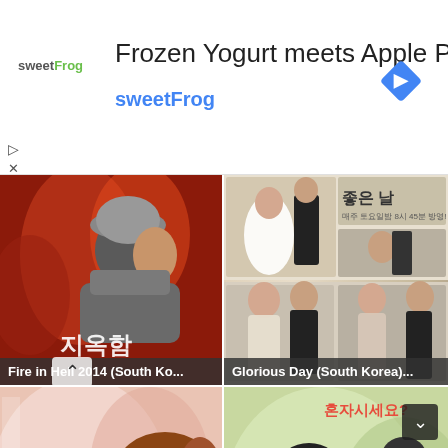[Figure (infographic): SweetFrog advertisement banner with logo, title 'Frozen Yogurt meets Apple Pie', subtitle 'sweetFrog', and a blue diamond navigation icon]
[Figure (photo): Korean drama poster 'Fire in Hell 2014 (South Ko...' - dark red background with a person in grey winter clothing and Korean text overlay]
[Figure (photo): Korean drama poster 'Glorious Day (South Korea)...' - wedding/formal scenes collage with Korean text]
[Figure (photo): Korean drama poster - woman's face on pink/red background with purple Korean text]
[Figure (photo): Korean drama poster '혼자시세요?' - people eating at table, tvN logo, man in dark suit]